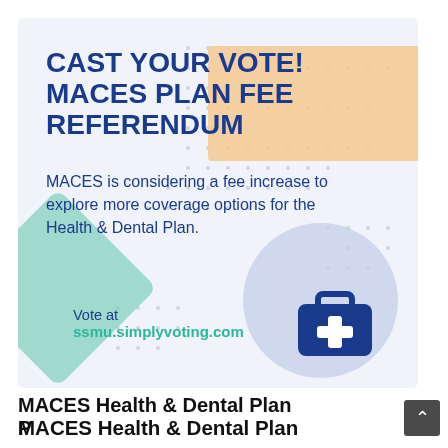[Figure (infographic): MACES Plan Fee Referendum promotional banner with decorative shapes (orange rectangle, teal diamond, light blue circle, medical kit icon) and dot pattern background on light blue-grey card.]
CAST YOUR VOTE! MACES PLAN FEE REFERENDUM
MACES is considering a fee increase to explore more coverage options for the Health & Dental Plan.
Vote at ssmu.simplyvoting.com
MACES Health & Dental Plan Proposed Referendum W2023